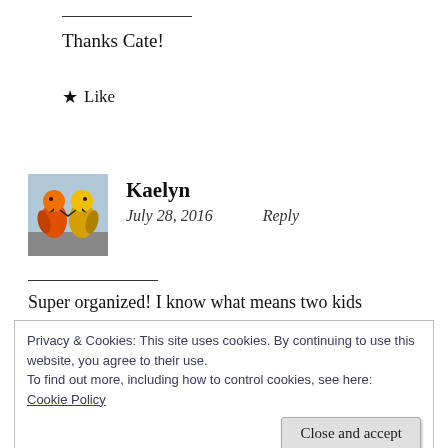Thanks Cate!
★ Like
Kaelyn
July 28, 2016   Reply
Super organized! I know what means two kids
Privacy & Cookies: This site uses cookies. By continuing to use this website, you agree to their use.
To find out more, including how to control cookies, see here:
Cookie Policy
Close and accept